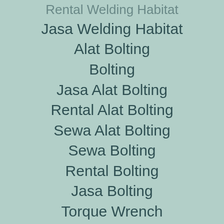…Rental Welding Habitat…
Jasa Welding Habitat
Alat Bolting
Bolting
Jasa Alat Bolting
Rental Alat Bolting
Sewa Alat Bolting
Sewa Bolting
Rental Bolting
Jasa Bolting
Torque Wrench
Alat Torque Wrench